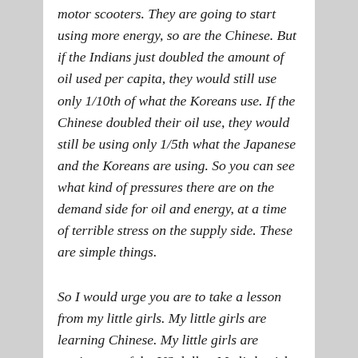motor scooters. They are going to start using more energy, so are the Chinese. But if the Indians just doubled the amount of oil used per capita, they would still use only 1/10th of what the Koreans use. If the Chinese doubled their oil use, they would still be using only 1/5th what the Japanese and the Koreans are using. So you can see what kind of pressures there are on the demand side for oil and energy, at a time of terrible stress on the supply side. These are simple things.
So I would urge you are to take a lesson from my little girls. My little girls are learning Chinese. My little girls are getting out of the US dollar. My little girls own a lot of